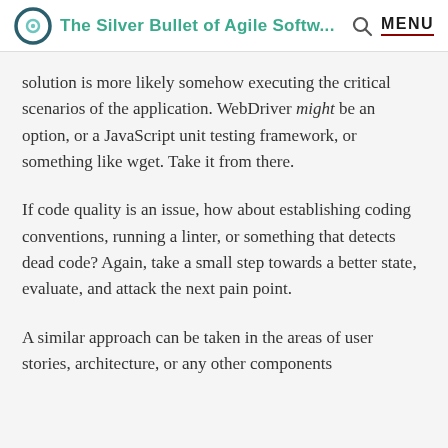The Silver Bullet of Agile Softw...
solution is more likely somehow executing the critical scenarios of the application. WebDriver might be an option, or a JavaScript unit testing framework, or something like wget. Take it from there.
If code quality is an issue, how about establishing coding conventions, running a linter, or something that detects dead code? Again, take a small step towards a better state, evaluate, and attack the next pain point.
A similar approach can be taken in the areas of user stories, architecture, or any other components